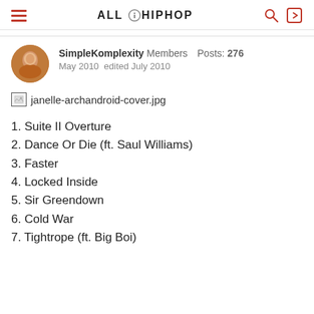ALL HIP HOP
SimpleKomplexity  Members  Posts: 276
May 2010  edited July 2010
[Figure (other): Broken image placeholder labeled janelle-archandroid-cover.jpg]
1. Suite II Overture
2. Dance Or Die (ft. Saul Williams)
3. Faster
4. Locked Inside
5. Sir Greendown
6. Cold War
7. Tightrope (ft. Big Boi)